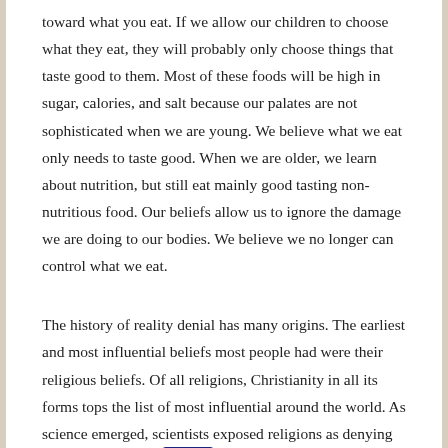toward what you eat. If we allow our children to choose what they eat, they will probably only choose things that taste good to them. Most of these foods will be high in sugar, calories, and salt because our palates are not sophisticated when we are young. We believe what we eat only needs to taste good. When we are older, we learn about nutrition, but still eat mainly good tasting non-nutritious food. Our beliefs allow us to ignore the damage we are doing to our bodies. We believe we no longer can control what we eat.
The history of reality denial has many origins. The earliest and most influential beliefs most people had were their religious beliefs. Of all religions, Christianity in all its forms tops the list of most influential around the world. As science emerged, scientists exposed religions as denying many fundamental [facts]. Many religions, especially Christianity, fought to hold onto their beliefs (and their followers) using racism, sexism, classism, homophobia, and other forms of discrimination. All